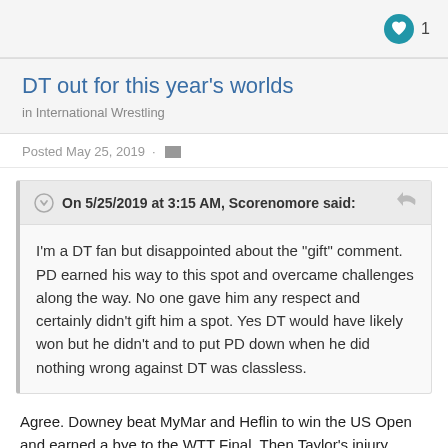[Figure (other): Heart/like button icon with count 1]
DT out for this year’s worlds
in International Wrestling
Posted May 25, 2019 ·
On 5/25/2019 at 3:15 AM, Scorenomore said:
I’m a DT fan but disappointed about the “gift” comment.  PD earned his way to this spot and overcame challenges along the way. No one gave him any respect and certainly didn’t gift him a spot. Yes DT would have likely won but he didn’t and to put PD down when he did nothing wrong against DT was classless.
Agree.  Downey beat MyMar and Heflin to win the US Open and earned a bye to the WTT Final.  Then Taylor’s injury happened, so anyone at a neighboring weight had the opportunity to shift to